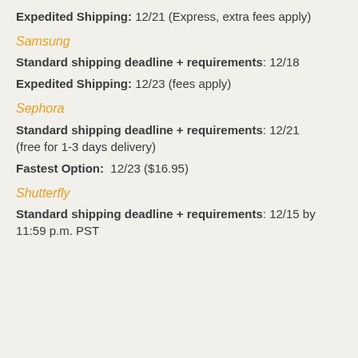Expedited Shipping: 12/21 (Express, extra fees apply)
Samsung
Standard shipping deadline + requirements: 12/18
Expedited Shipping: 12/23 (fees apply)
Sephora
Standard shipping deadline + requirements: 12/21 (free for 1-3 days delivery)
Fastest Option: 12/23 ($16.95)
Shutterfly
Standard shipping deadline + requirements: 12/15 by 11:59 p.m. PST